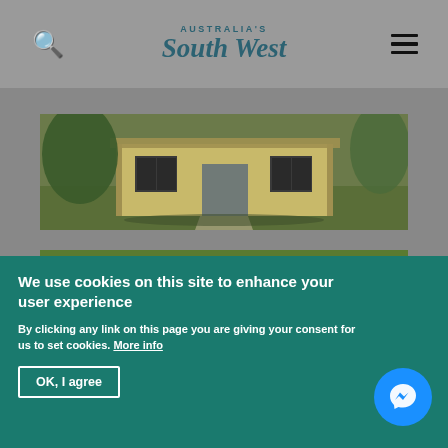Australia's South West
[Figure (photo): A yellow/cream coloured small house or cabin with dark window frames, surrounded by trees and green lawn with a gravel path in front.]
[Figure (photo): Dark-feathered chickens/roosters on green grass, photographed at ground level.]
We use cookies on this site to enhance your user experience
By clicking any link on this page you are giving your consent for us to set cookies. More info
OK, I agree